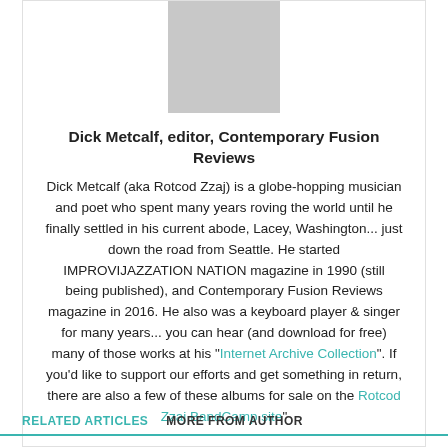[Figure (photo): Headshot photo of Dick Metcalf, an older man in a white shirt with suspenders]
Dick Metcalf, editor, Contemporary Fusion Reviews
Dick Metcalf (aka Rotcod Zzaj) is a globe-hopping musician and poet who spent many years roving the world until he finally settled in his current abode, Lacey, Washington... just down the road from Seattle. He started IMPROVIJAZZATION NATION magazine in 1990 (still being published), and Contemporary Fusion Reviews magazine in 2016. He also was a keyboard player & singer for many years... you can hear (and download for free) many of those works at his "Internet Archive Collection". If you'd like to support our efforts and get something in return, there are also a few of these albums for sale on the Rotcod Zzaj BandCamp site"
RELATED ARTICLES   MORE FROM AUTHOR